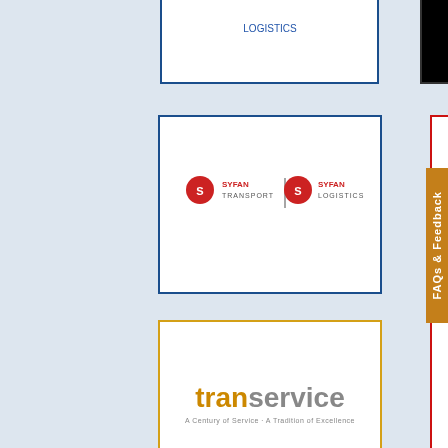[Figure (logo): Partial logo at top-left, cut off]
[Figure (logo): Black rectangle logo at top-right, cut off]
[Figure (logo): SYFAN TRANSPORT | SYFAN LOGISTICS logo with blue border]
[Figure (logo): GTS Global Technology Systems - Powering the Mobile Universe logo with red border]
[Figure (logo): transervice logo with gold/yellow border]
[Figure (logo): TURBO SALES & LEASING logo with red border]
[Figure (logo): T logo mark with red border - black and red arrow design]
[Figure (logo): ALLIANCE shippers inc logo with dark border]